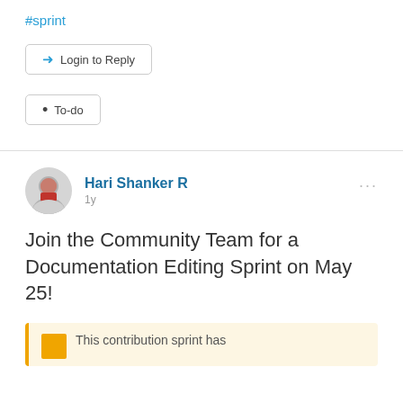#sprint
Login to Reply
To-do
Hari Shanker R
1y
Join the Community Team for a Documentation Editing Sprint on May 25!
This contribution sprint has